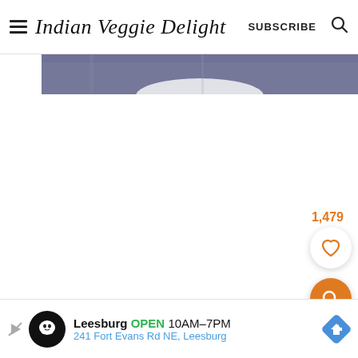Indian Veggie Delight  SUBSCRIBE
[Figure (photo): Partial view of a dark blue-purple textured background with a white bowl or plate visible at the bottom center, cropped at the top of the image area.]
1,479
[Figure (other): White circular button with orange heart icon (save/favorite button) with count 1,479 above it]
[Figure (other): Orange circular FAB button with white search/magnifying glass icon]
[Figure (other): Advertisement bar: Leesburg OPEN 10AM-7PM, 241 Fort Evans Rd NE, Leesburg, with Waze logo and navigation arrow]